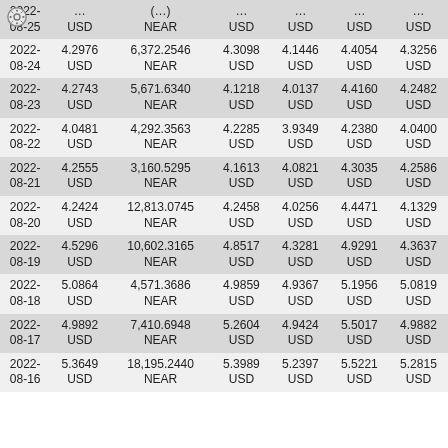| Date | Price | Volume | Open | Low | High | Close |
| --- | --- | --- | --- | --- | --- | --- |
| 2022-08-25 | ... USD | (...) NEAR | ... USD | ... USD | ... USD | ... USD |
| 2022-08-24 | 4.2976 USD | 6,372.2546 NEAR | 4.3098 USD | 4.1446 USD | 4.4054 USD | 4.3256 USD |
| 2022-08-23 | 4.2743 USD | 5,671.6340 NEAR | 4.1218 USD | 4.0137 USD | 4.4160 USD | 4.2482 USD |
| 2022-08-22 | 4.0481 USD | 4,292.3563 NEAR | 4.2285 USD | 3.9349 USD | 4.2380 USD | 4.0400 USD |
| 2022-08-21 | 4.2555 USD | 3,160.5295 NEAR | 4.1613 USD | 4.0821 USD | 4.3035 USD | 4.2586 USD |
| 2022-08-20 | 4.2424 USD | 12,813.0745 NEAR | 4.2458 USD | 4.0256 USD | 4.4471 USD | 4.1329 USD |
| 2022-08-19 | 4.5296 USD | 10,602.3165 NEAR | 4.8517 USD | 4.3281 USD | 4.9291 USD | 4.3637 USD |
| 2022-08-18 | 5.0864 USD | 4,571.3686 NEAR | 4.9859 USD | 4.9367 USD | 5.1956 USD | 5.0819 USD |
| 2022-08-17 | 4.9892 USD | 7,410.6948 NEAR | 5.2604 USD | 4.9424 USD | 5.5017 USD | 4.9882 USD |
| 2022-08-16 | 5.3649 USD | 18,195.2440 NEAR | 5.3989 USD | 5.2397 USD | 5.5221 USD | 5.2815 USD |